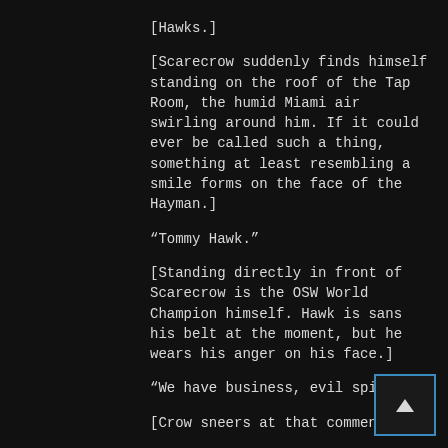[Hawks.]
[Scarecrow suddenly finds himself standing on the roof of the Tap Room, the humid Miami air swirling around him. If it could ever be called such a thing, something at least resembling a smile forms on the face of the Hayman.]
“Tommy Hawk.”
[Standing directly in front of Scarecrow is the OSW World Champion himself. Hawk is sans his belt at the moment, but he wears his anger on his face.]
“We have business, evil spirit.”
[Crow sneers at that comment.]
“No.” [He begins.] “I have business. Your only requirement is to go quietly into the night.”